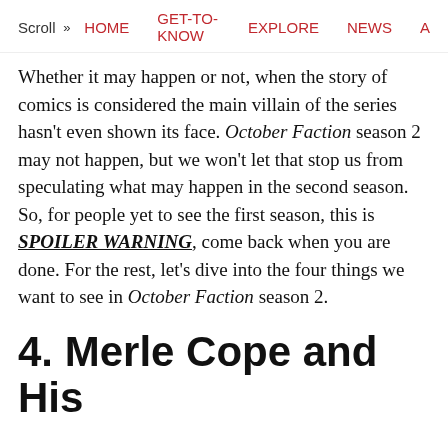Scroll » HOME  GET-TO-KNOW  EXPLORE  NEWS  A
Whether it may happen or not, when the story of comics is considered the main villain of the series hasn't even shown its face. October Faction season 2 may not happen, but we won't let that stop us from speculating what may happen in the second season. So, for people yet to see the first season, this is SPOILER WARNING, come back when you are done. For the rest, let's dive into the four things we want to see in October Faction season 2.
4. Merle Cope and His